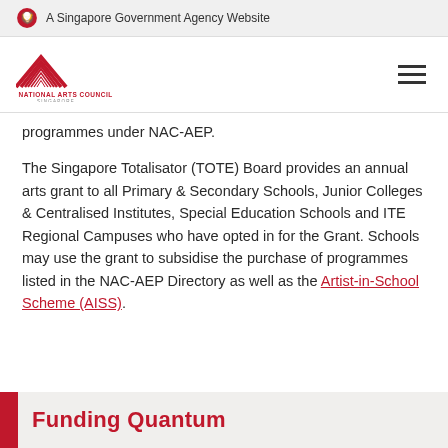A Singapore Government Agency Website
[Figure (logo): National Arts Council Singapore logo with red lion head icon and hamburger menu]
programmes under NAC-AEP.
The Singapore Totalisator (TOTE) Board provides an annual arts grant to all Primary & Secondary Schools, Junior Colleges & Centralised Institutes, Special Education Schools and ITE Regional Campuses who have opted in for the Grant. Schools may use the grant to subsidise the purchase of programmes listed in the NAC-AEP Directory as well as the Artist-in-School Scheme (AISS).
Funding Quantum